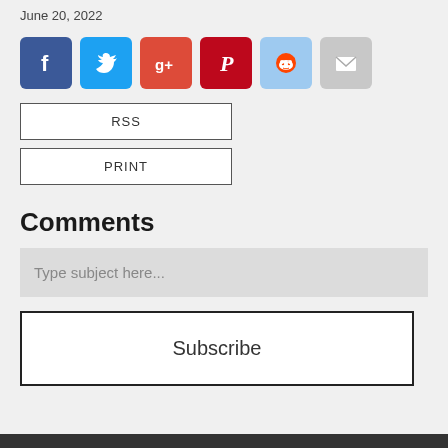June 20, 2022
[Figure (other): Social media share icons: Facebook (blue), Twitter (light blue), Google+ (red), Pinterest (dark red), Reddit (light blue), Email (gray)]
RSS
PRINT
Comments
Type subject here...
Subscribe